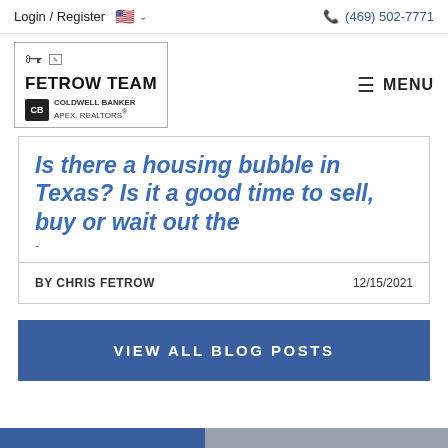Login / Register
(469) 502-7771
[Figure (logo): Fetrow Team Coldwell Banker Apex Realtors logo with key icon]
MENU
Is there a housing bubble in Texas? Is it a good time to sell, buy or wait out the
BY CHRIS FETROW   12/15/2021
VIEW ALL BLOG POSTS